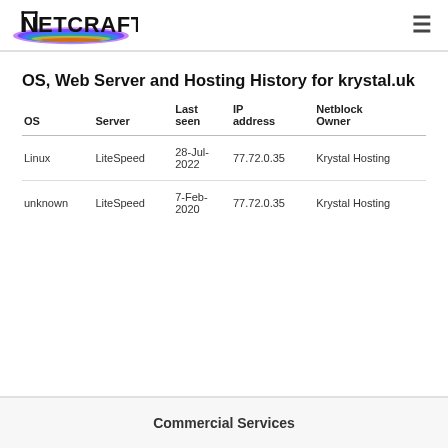Netcraft
OS, Web Server and Hosting History for krystal.uk
| OS | Server | Last seen | IP address | Netblock Owner |
| --- | --- | --- | --- | --- |
| Linux | LiteSpeed | 28-Jul-2022 | 77.72.0.35 | Krystal Hosting |
| unknown | LiteSpeed | 7-Feb-2020 | 77.72.0.35 | Krystal Hosting |
Commercial Services